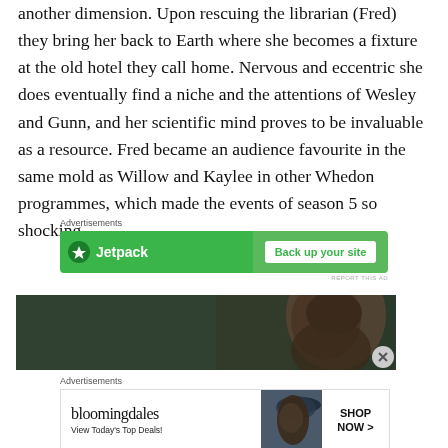another dimension. Upon rescuing the librarian (Fred) they bring her back to Earth where she becomes a fixture at the old hotel they call home. Nervous and eccentric she does eventually find a niche and the attentions of Wesley and Gunn, and her scientific mind proves to be invaluable as a resource. Fred became an audience favourite in the same mold as Willow and Kaylee in other Whedon programmes, which made the events of season 5 so shocking.
[Figure (other): Jetpack advertisement banner: green background with Jetpack logo on left and 'Back up your site' button on right]
[Figure (photo): Dark photo showing a woman with dark hair against a dark background, partially visible]
[Figure (other): Bloomingdale's advertisement banner: logo on left, woman in hat photo in middle, 'SHOP NOW >' button on right]